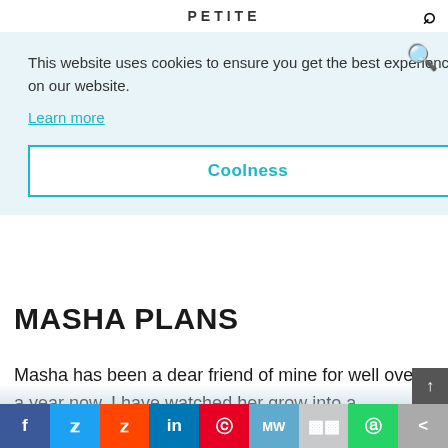PETITE
This website uses cookies to ensure you get the best experience on our website. Learn more
Coolness
MASHA PLANS
Masha has been a dear friend of mine for well over a year now. I have watched her grow into a confident